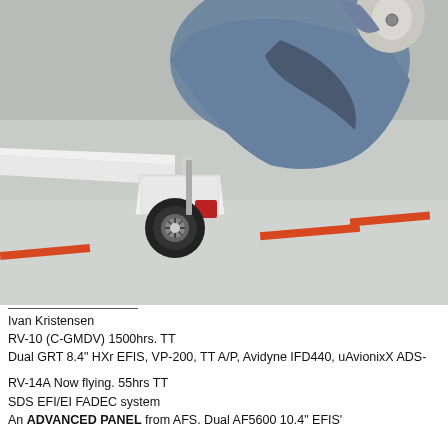[Figure (photo): Close-up photo of the nose gear and lower fuselage of a light aircraft (RV-10) parked on concrete ramp flooring with orange painted lines. The nose wheel is visible with a white wheel fairing, red brake calipers, and black tire. The blue fuselage belly and propeller spinner area are visible above. A portion of the white wing at lower left is also visible.]
Ivan Kristensen
RV-10 (C-GMDV) 1500hrs. TT
Dual GRT 8.4" HXr EFIS, VP-200, TT A/P, Avidyne IFD440, uAvionixX ADS-

RV-14A Now flying. 55hrs TT
SDS EFI/EI FADEC system
An ADVANCED PANEL from AFS. Dual AF5600 10.4" EFIS'